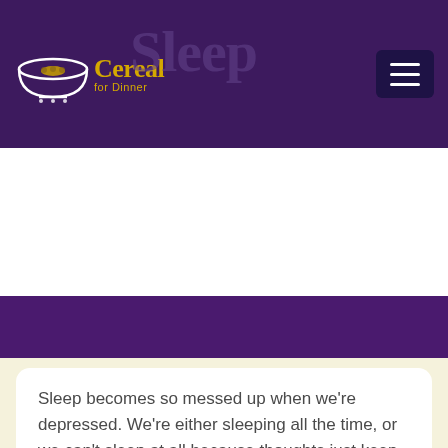Cereal for Dinner | Sleep
Explore tips for improving sleep when depressed
Sleep becomes so messed up when we're depressed. We're either sleeping all the time, or we can't sleep at all because thoughts just keep running through our mind. For some of us, it's easy to fall asleep